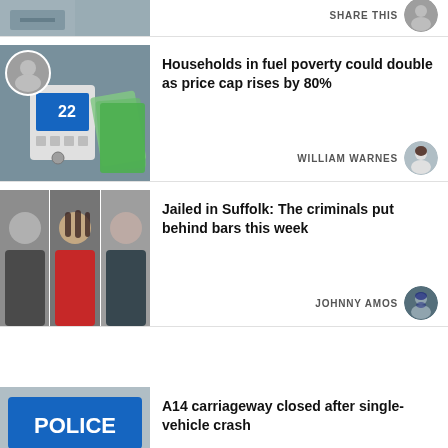[Figure (photo): Partial top news card thumbnail]
SHARE THIS
[Figure (photo): Thermostat and cash money — fuel poverty story thumbnail]
Households in fuel poverty could double as price cap rises by 80%
WILLIAM WARNES
[Figure (photo): Author avatar for William Warnes]
[Figure (photo): Three mugshot panels — Jailed in Suffolk story]
Jailed in Suffolk: The criminals put behind bars this week
JOHNNY AMOS
[Figure (photo): Author avatar for Johnny Amos]
[Figure (photo): Police sign — A14 carriageway story thumbnail]
A14 carriageway closed after single-vehicle crash